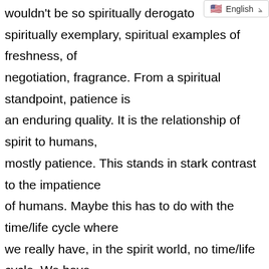wouldn't be so spiritually derogatory, spiritually exemplary, spiritual examples of freshness, of negotiation, fragrance. From a spiritual standpoint, patience is an enduring quality. It is the relationship of spirit to humans, mostly patience. This stands in stark contrast to the impatience of humans. Maybe this has to do with the time/life cycle where we really have, in the spirit world, no time/life cycle. We have beauty cycles but humans for the most part have a tremendously short time/life cycle. Maybe this is why humans are always in such a hurry, yet in the moment, there is ample time for patience. There is ample time to receive guidance, there is ample time to still your mind, there is ample time to observe silence.